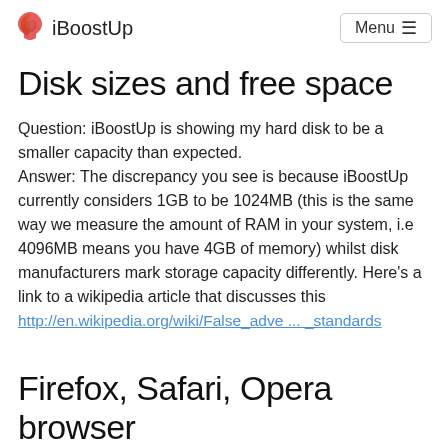iBoostUp  Menu
Disk sizes and free space
Question: iBoostUp is showing my hard disk to be a smaller capacity than expected.
Answer: The discrepancy you see is because iBoostUp currently considers 1GB to be 1024MB (this is the same way we measure the amount of RAM in your system, i.e 4096MB means you have 4GB of memory) whilst disk manufacturers mark storage capacity differently. Here's a link to a wikipedia article that discusses this
http://en.wikipedia.org/wiki/False_adve ... _standards
Firefox, Safari, Opera browser related questions